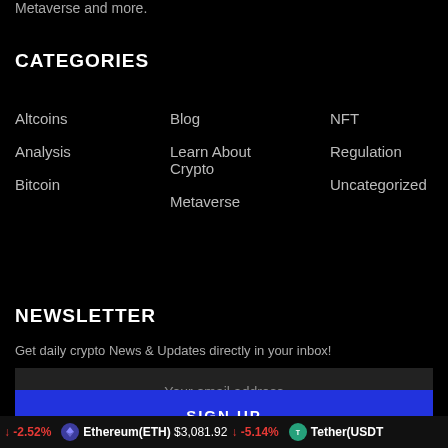Metaverse and more.
CATEGORIES
Altcoins
Analysis
Bitcoin
Blog
Learn About Crypto
Metaverse
NFT
Regulation
Uncategorized
NEWSLETTER
Get daily crypto News & Updates directly in your inbox!
Your email address
SIGN UP
-2.52%  Ethereum(ETH) $3,081.92  -5.14%  Tether(USDT